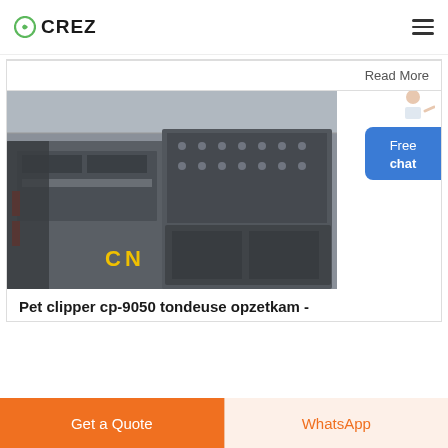CREZ
Read More
[Figure (photo): Industrial machinery — large metal impact crusher machines in a factory/warehouse setting, with 'CN' text visible in yellow on the equipment.]
Pet clipper cp-9050 tondeuse opzetkam -
Get a Quote
WhatsApp